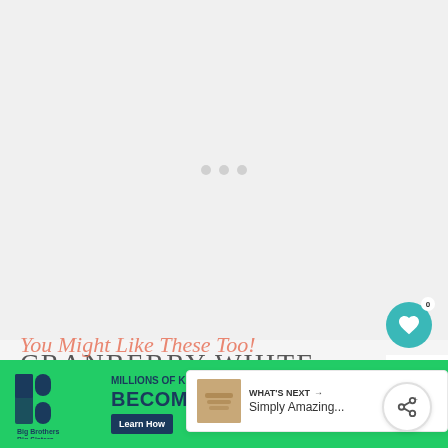[Figure (photo): Large hero image area, showing a loading state with three gray dots on a light gray background]
CRANBERRY WHITE CHOCOLATE COOKIES
159
WHAT'S NEXT → Simply Amazing...
You Might Like These Too!
[Figure (infographic): Advertisement banner: Big Brothers Big Sisters of America. MILLIONS OF KIDS ARE GROWING UP WITHOUT A MENTOR. BECOME A BIG TODAY. Learn How button.]